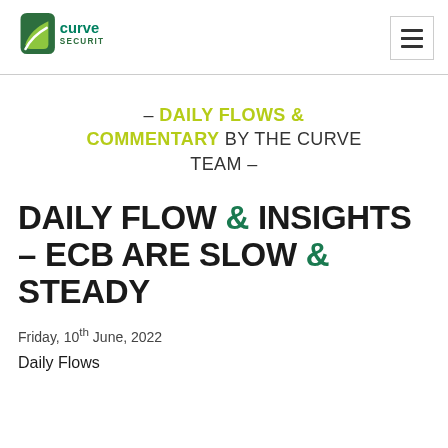[Figure (logo): Curve Securities logo with green leaf/shield icon and teal 'curve SECURITIES' text]
– DAILY FLOWS & COMMENTARY BY THE CURVE TEAM –
DAILY FLOW & INSIGHTS – ECB ARE SLOW & STEADY
Friday, 10th June, 2022
Daily Flows